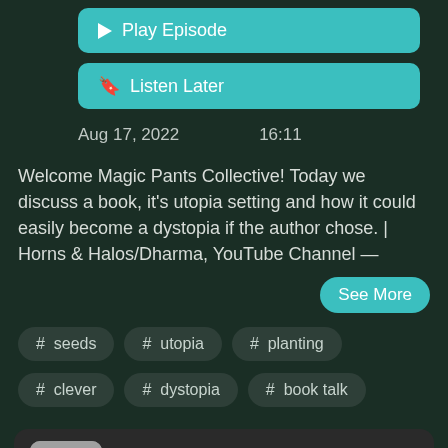▶ Play Episode
🔖 Listen Later
Aug 17, 2022   16:11
Welcome Magic Pants Collective! Today we discuss a book, it's utopia setting and how it could easily become a dystopia if the author chose. | Horns & Halos/Dharma, YouTube Channel —
See More
# seeds
# utopia
# planting
# clever
# dystopia
# book talk
The Woke Utopia Is